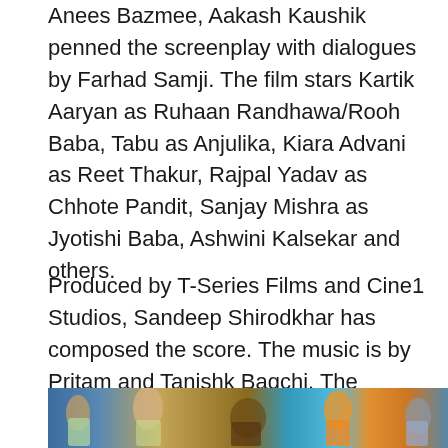Anees Bazmee, Aakash Kaushik penned the screenplay with dialogues by Farhad Samji. The film stars Kartik Aaryan as Ruhaan Randhawa/Rooh Baba, Tabu as Anjulika, Kiara Advani as Reet Thakur, Rajpal Yadav as Chhote Pandit, Sanjay Mishra as Jyotishi Baba, Ashwini Kalsekar and others.
Produced by T-Series Films and Cine1 Studios, Sandeep Shirodkhar has composed the score. The music is by Pritam and Tanishk Bagchi. The runtime of the film is 143 minutes.
[Figure (photo): Movie promotional photo showing cast members of a Bollywood film, with colorful costumes against a blue backdrop]